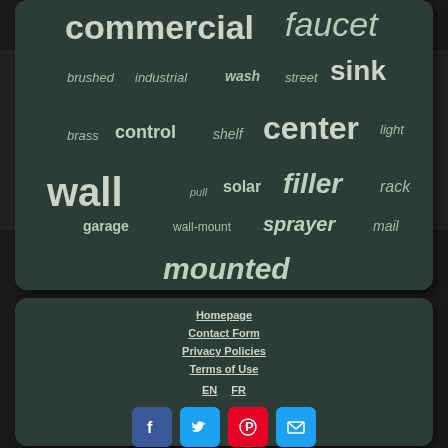[Figure (infographic): Word cloud on dark green background card showing keywords: commercial, faucet, brushed, industrial, wash, street, sink, brass, control, shelf, center, light, wall, pull, solar, filler, rack, garage, wall-mount, sprayer, mail, mounted]
[Figure (infographic): Footer navigation card on dark green background with links: Homepage, Contact Form, Privacy Policies, Terms of Use, EN FR language toggle, and social media buttons for Facebook, Twitter, Pinterest, Email]